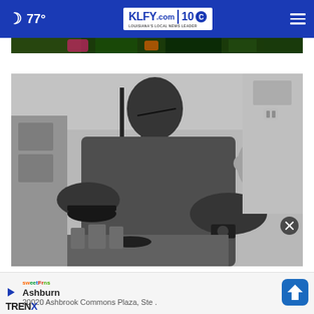🌙 77° KLFY.com 10
[Figure (photo): Partial view of colorful image strip at top of page, showing flowers/foliage in dark background]
[Figure (photo): Black and white photo of a man wearing an apron cooking in a kitchen while carrying a baby on his back. The man is leaning over a pan and the baby peeks over his shoulder looking at the camera.]
Ashburn
20020 Ashbrook Commons Plaza, Ste .
TRENX